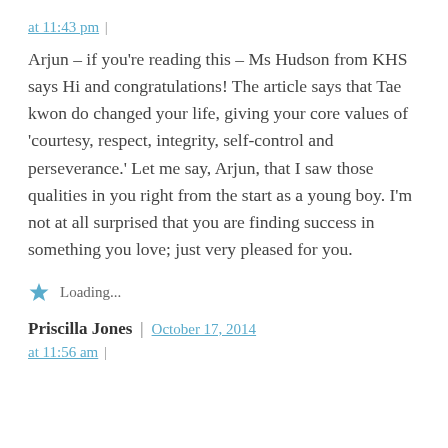at 11:43 pm |
Arjun – if you're reading this – Ms Hudson from KHS says Hi and congratulations! The article says that Tae kwon do changed your life, giving your core values of 'courtesy, respect, integrity, self-control and perseverance.' Let me say, Arjun, that I saw those qualities in you right from the start as a young boy. I'm not at all surprised that you are finding success in something you love; just very pleased for you.
Loading...
Priscilla Jones | October 17, 2014
at 11:56 am |